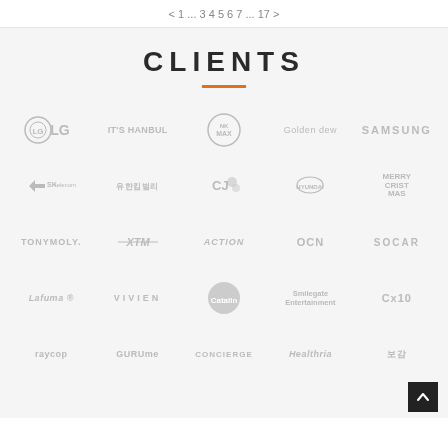< 1 ... 3 4 5 6 7 ... 17 >
CLIENTS
[Figure (logo): Grid of client company logos: LG, IT'S HANBUL, NKMAX, Golden dew, SAMSUNG, SK telecom, 유한킴벌리, CJ, HYUNDAI, MERRYCRISTMAS, TONYMOLY, XTM, ACTION, OCN, SOCAR, Lafuma, VIVIEN, Catalin, Smilegate Entertainment, Cx10, raycop, GURUme, CONCIERGE, Healthria, 보감]